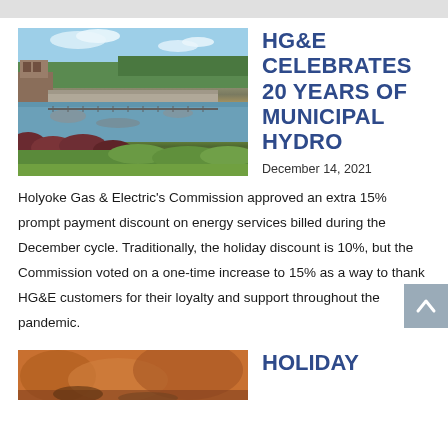[Figure (photo): Aerial or ground-level view of a river with a dam/hydroelectric facility, trees and vegetation along the banks, brick building on the left, blue sky with clouds above.]
HG&E CELEBRATES 20 YEARS OF MUNICIPAL HYDRO
December 14, 2021
Holyoke Gas & Electric's Commission approved an extra 15% prompt payment discount on energy services billed during the December cycle. Traditionally, the holiday discount is 10%, but the Commission voted on a one-time increase to 15% as a way to thank HG&E customers for their loyalty and support throughout the pandemic.
[Figure (photo): Bottom article thumbnail image with orange/autumn tones, partial view.]
HOLIDAY